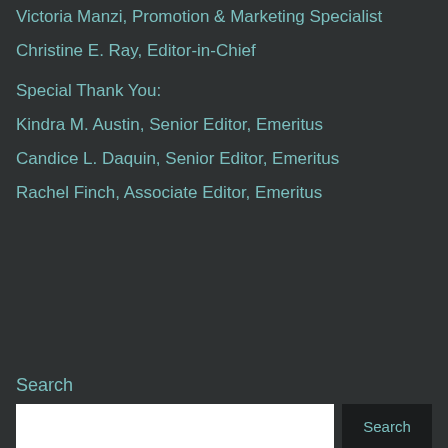Victoria Manzi, Promotion & Marketing Specialist
Christine E. Ray, Editor-in-Chief
Special Thank You:
Kindra M. Austin, Senior Editor, Emeritus
Candice L. Daquin, Senior Editor, Emeritus
Rachel Finch, Associate Editor, Emeritus
Search